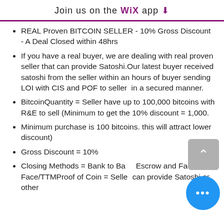Join us on the WiX app ⬇
REAL Proven BITCOIN SELLER - 10% Gross Discount - A Deal Closed within 48hrs
If you have a real buyer, we are dealing with real proven seller that can provide Satoshi.Our latest buyer received satoshi from the seller within an hours of buyer sending LOI with CIS and POF to seller  in a secured manner.
BitcoinQuantity = Seller have up to 100,000 bitcoins with R&E to sell (Minimum to get the 10% discount = 1,000.
Minimum purchase is 100 bitcoins. this will attract lower discount)
Gross Discount = 10%
Closing Methods = Bank to Bank Escrow and Face to Face/TTMProof of Coin = Seller can provide Satoshi or other